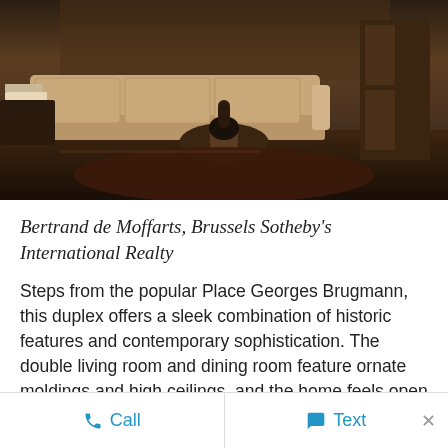[Figure (photo): Interior photo of a living room with a beige sofa, dark round coffee table, fur/shag rug, and hardwood floors visible in the background]
Bertrand de Moffarts, Brussels Sotheby's International Realty
Steps from the popular Place Georges Brugmann, this duplex offers a sleek combination of historic features and contemporary sophistication. The double living room and dining room feature ornate moldings and high ceilings, and the home feels open and airy thanks to west-facing windows. Just outside the kitchen, a terrace and garden space provide a seamless transition to the lush scenery outside, while shops, restaurants, and schools are
Call   Text   ×